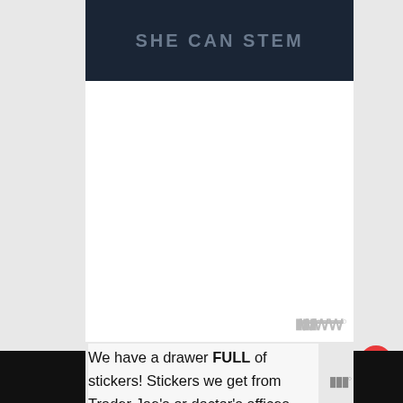[Figure (screenshot): Dark banner with text SHE CAN STEM in gray uppercase letters on a dark textured background]
[Figure (other): White advertisement/content placeholder box with a Mimecast mmm logo watermark in gray at bottom right]
We have a drawer FULL of stickers! Stickers we get from Trader Joe's or doctor's offices, church, dollar store, birthday goodie bags, and more! Anytime we have extra stickers, they
[Figure (other): Social sharing UI overlay: red heart button, count 9, share button, and WHAT'S NEXT panel showing Counting Books for...]